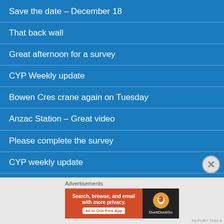Save the date – December 18
That back wall
Great afternoon for a survey
CYP Weekly update
Bowen Cres crane again on Tuesday
Anzac Station – Great video
Please complete the survey
CYP weekly update
Some things can't go on the blog
Annual Survey time
Advertisements
[Figure (screenshot): DuckDuckGo advertisement banner: 'Search, browse, and email with more privacy. All in One Free App' with DuckDuckGo logo on dark background]